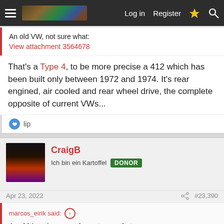Log in | Register
An old VW, not sure what:
View attachment 3564678
That's a Type 4, to be more precise a 412 which has been built only between 1972 and 1974. It's rear engined, air cooled and rear wheel drive, the complete opposite of current VWs...
lip
CraigB
Ich bin ein Kartoffel  DONOR
Apr 23, 2022   #23,390
marcos_eirik said:
An old American car, also not sure what:
View attachment 3564679